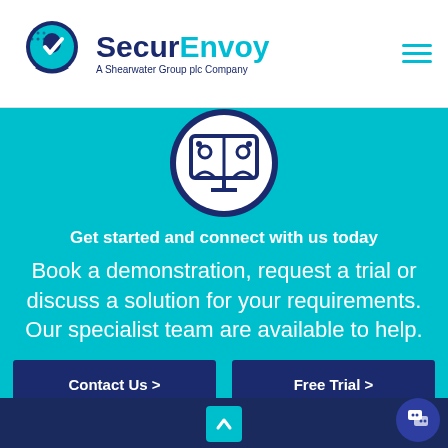[Figure (logo): SecurEnvoy logo with stylized head/shield icon and text 'SecurEnvoy - A Shearwater Group plc Company']
[Figure (illustration): Circular icon showing a video call / remote meeting with two people on a monitor screen, on teal background]
Get started and connect with us today
Book a demonstration, request a trial or discuss a solution for your requirements. Our specialist team are available to help.
Contact Us >
Free Trial >